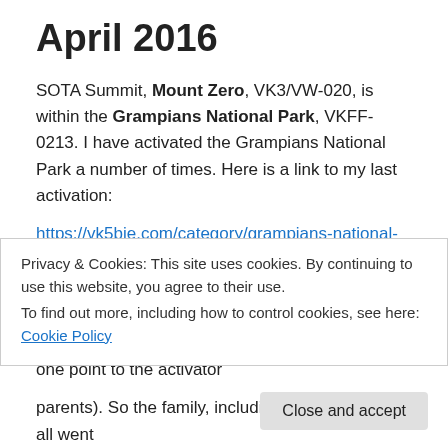April 2016
SOTA Summit, Mount Zero, VK3/VW-020, is within the Grampians National Park, VKFF-0213. I have activated the Grampians National Park a number of times. Here is a link to my last activation:
https://vk5bje.com/category/grampians-national-park/
I wanted to activate a second summit in the Grampians National Park. I have previously activated Mount William. Mount Zero is worth one point to the activator
Privacy & Cookies: This site uses cookies. By continuing to use this website, you agree to their use.
To find out more, including how to control cookies, see here: Cookie Policy
parents). So the family, including my xyl, Jenny, all went